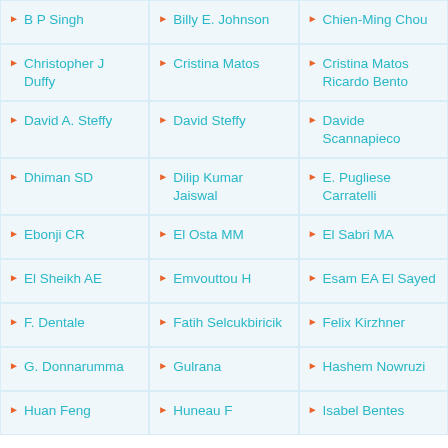B P Singh
Billy E. Johnson
Chien-Ming Chou
Christopher J Duffy
Cristina Matos
Cristina Matos Ricardo Bento
David A. Steffy
David Steffy
Davide Scannapieco
Dhiman SD
Dilip Kumar Jaiswal
E. Pugliese Carratelli
Ebonji CR
El Osta MM
El Sabri MA
El Sheikh AE
Emvouttou H
Esam EA El Sayed
F. Dentale
Fatih Selcukbiricik
Felix Kirzhner
G. Donnarumma
Gulrana
Hashem Nowruzi
Huan Feng
Huneau F
Isabel Bentes